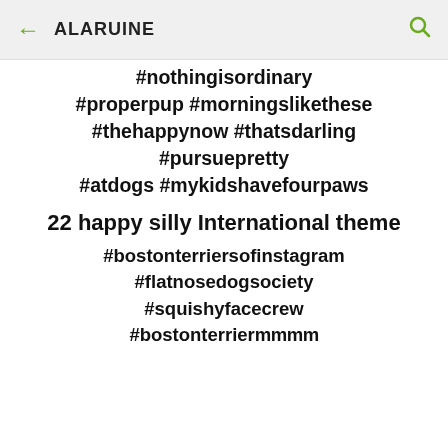← ALARUINE 🔍
#nothingisordinary #properpup #morningslikethese #thehappynow #thatsdarling #pursuepretty #atdogs #mykidshavefourpaws
22 happy silly International theme
#bostonterriersofinstagram #flatnosedogsociety #squishyfacecrew #bostonterrier...